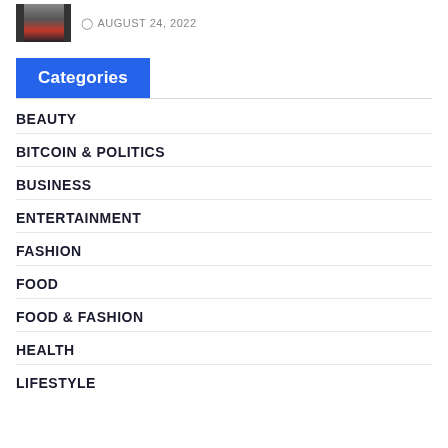AUGUST 24, 2022
Categories
BEAUTY
BITCOIN & POLITICS
BUSINESS
ENTERTAINMENT
FASHION
FOOD
FOOD & FASHION
HEALTH
LIFESTYLE